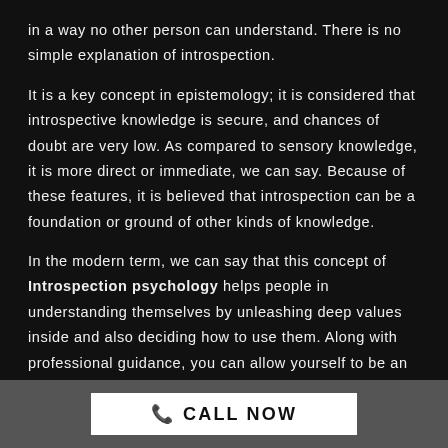in a way no other person can understand. There is no simple explanation of introspection.
It is a key concept in epistemology; it is considered that introspective knowledge is secure, and chances of doubt are very low. As compared to sensory knowledge, it is more direct or immediate, we can say. Because of these features, it is believed that introspection can be a foundation or ground of other kinds of knowledge.
In the modern term, we can say that this concept of Introspection psychology helps people in understanding themselves by unleashing deep values inside and also deciding how to use them. Along with professional guidance, you can allow yourself to be an expert on your
📞 CALL NOW